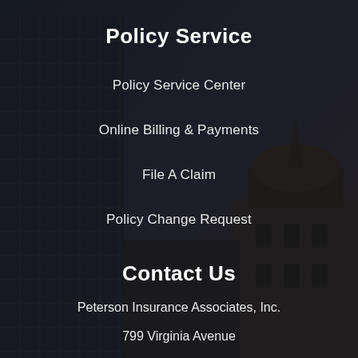Policy Service
Policy Service Center
Online Billing & Payments
File A Claim
Policy Change Request
Contact Us
Peterson Insurance Associates, Inc.
799 Virginia Avenue